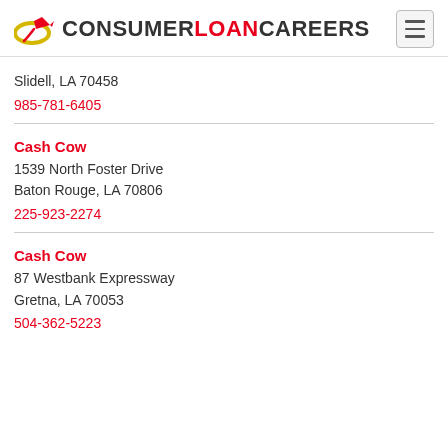CONSUMERLOAN CAREERS
Slidell, LA 70458
985-781-6405
Cash Cow
1539 North Foster Drive
Baton Rouge, LA 70806
225-923-2274
Cash Cow
87 Westbank Expressway
Gretna, LA 70053
504-362-5223